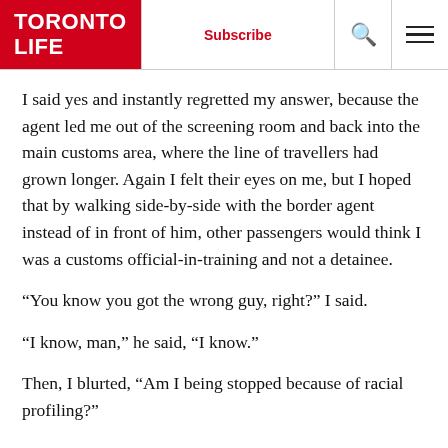TORONTO LIFE | Subscribe | [search] [menu]
I said yes and instantly regretted my answer, because the agent led me out of the screening room and back into the main customs area, where the line of travellers had grown longer. Again I felt their eyes on me, but I hoped that by walking side-by-side with the border agent instead of in front of him, other passengers would think I was a customs official-in-training and not a detainee.
“You know you got the wrong guy, right?” I said.
“I know, man,” he said, “I know.”
Then, I blurted, “Am I being stopped because of racial profiling?”